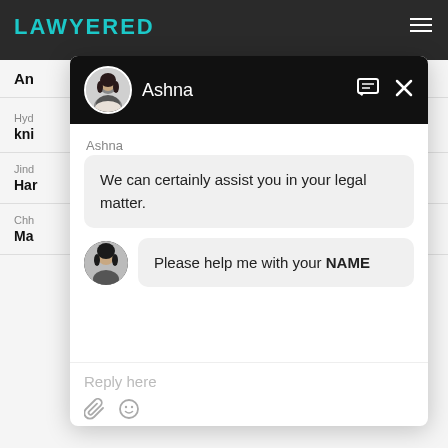LAWYERED
Hyd
kni
Jind
Har
Chh
Mad
[Figure (screenshot): Chat widget with agent Ashna. Agent message: 'We can certainly assist you in your legal matter.' User message: 'Please help me with your NAME'. Reply input area at bottom.]